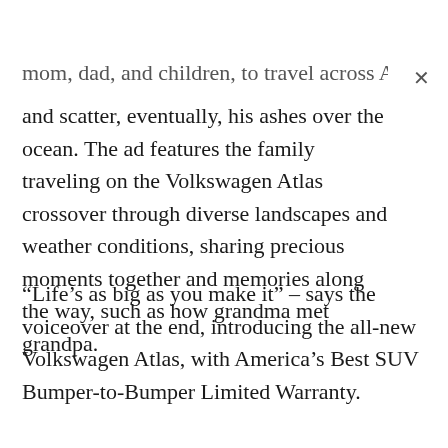mom, dad, and children, to travel across America
and scatter, eventually, his ashes over the ocean. The ad features the family traveling on the Volkswagen Atlas crossover through diverse landscapes and weather conditions, sharing precious moments together and memories along the way, such as how grandma met grandpa.
“Life’s as big as you make it” – says the voiceover at the end, introducing the all-new Volkswagen Atlas, with America’s Best SUV Bumper-to-Bumper Limited Warranty.